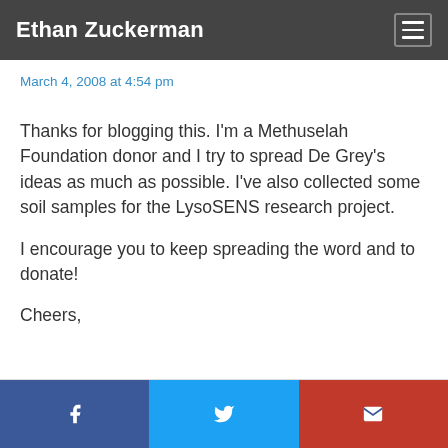Ethan Zuckerman
March 4, 2008 at 4:54 pm
Thanks for blogging this. I'm a Methuselah Foundation donor and I try to spread De Grey's ideas as much as possible. I've also collected some soil samples for the LysoSENS research project.

I encourage you to keep spreading the word and to donate!

Cheers,
Facebook | Twitter | Email